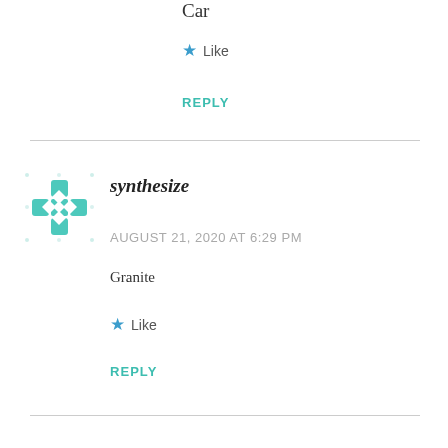Car
★ Like
REPLY
[Figure (illustration): Teal/green geometric snowflake-like avatar icon for user synthesize]
synthesize
AUGUST 21, 2020 AT 6:29 PM
Granite
★ Like
REPLY